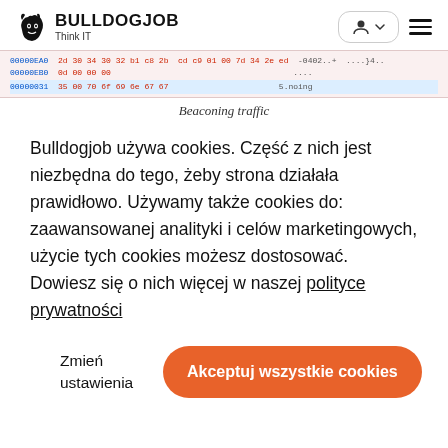BULLDOGJOB Think IT
[Figure (screenshot): Hex dump code block showing memory addresses and binary data in red/blue monospace text]
Beaconing traffic
Bulldogjob używa cookies. Część z nich jest niezbędna do tego, żeby strona działała prawidłowo. Używamy także cookies do: zaawansowanej analityki i celów marketingowych, użycie tych cookies możesz dostosować. Dowiesz się o nich więcej w naszej polityce prywatności
Zmień ustawienia
Akceptuj wszystkie cookies